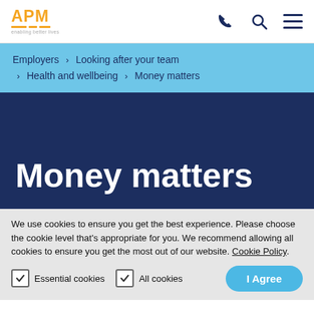APM — enabling better lives
Employers > Looking after your team > Health and wellbeing > Money matters
Money matters
We use cookies to ensure you get the best experience. Please choose the cookie level that's appropriate for you. We recommend allowing all cookies to ensure you get the most out of our website. Cookie Policy.
Essential cookies  All cookies  I Agree